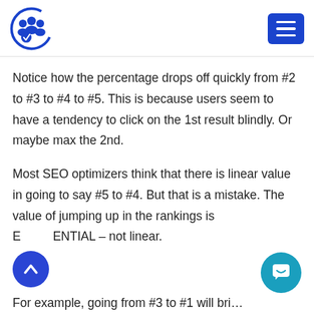[logo] [hamburger menu]
Notice how the percentage drops off quickly from #2 to #3 to #4 to #5. This is because users seem to have a tendency to click on the 1st result blindly. Or maybe max the 2nd.
Most SEO optimizers think that there is linear value in going to say #5 to #4. But that is a mistake. The value of jumping up in the rankings is EXPONENTIAL – not linear.
For example, going from #3 to #1 will bring…